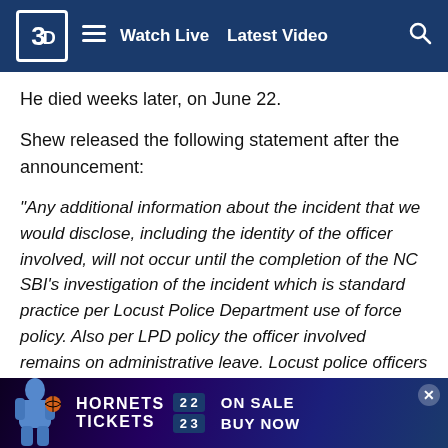WBTV | Watch Live | Latest Video
He died weeks later, on June 22.
Shew released the following statement after the announcement:
“Any additional information about the incident that we would disclose, including the identity of the officer involved, will not occur until the completion of the NC SBI’s investigation of the incident which is standard practice per Locust Police Department use of force policy. Also per LPD policy the officer involved remains on administrative leave. Locust police officers are equipped with body cameras, and we will confirm that the camera was activated during the incident. There was an ongoing criminal investigation against Mr. Coles for the incident which has been concluded…
[Figure (other): Hornets Tickets 22/23 On Sale Buy Now advertisement banner with basketball player]